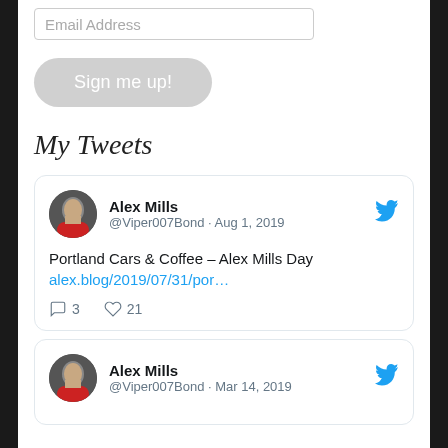[Figure (other): Email Address input field]
[Figure (other): Sign me up! button (rounded pill, grey)]
My Tweets
[Figure (other): Tweet card: Alex Mills @Viper007Bond · Aug 1, 2019 — Portland Cars & Coffee – Alex Mills Day alex.blog/2019/07/31/por… — 3 replies, 21 likes]
[Figure (other): Tweet card: Alex Mills @Viper007Bond · Mar 14, 2019 (partially visible)]